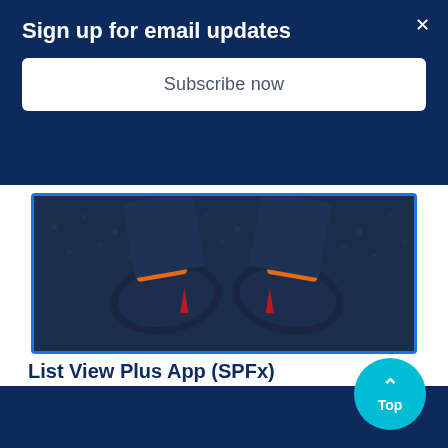Sign up for email updates
Subscribe now
[Figure (photo): Photo of a person standing on gravel wearing dark sneakers with orange and red accents, viewed from above]
List View Plus App (SPFx)
Easily embed remote list views in your page, as if they were local!
LEARN MORE